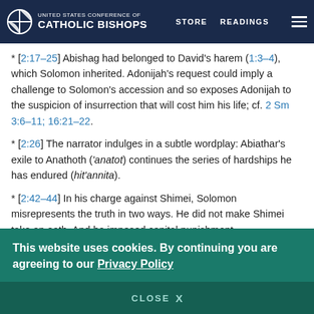UNITED STATES CONFERENCE OF CATHOLIC BISHOPS | STORE | READINGS
* [2:17–25] Abishag had belonged to David's harem (1:3–4), which Solomon inherited. Adonijah's request could imply a challenge to Solomon's accession and so exposes Adonijah to the suspicion of insurrection that will cost him his life; cf. 2 Sm 3:6–11; 16:21–22.
* [2:26] The narrator indulges in a subtle wordplay: Abiathar's exile to Anathoth ('anatot) continues the series of hardships he has endured (hit'annita).
* [2:42–44] In his charge against Shimei, Solomon misrepresents the truth in two ways. He did not make Shimei take an oath. And he imposed capital punishment
This website uses cookies. By continuing you are agreeing to our Privacy Policy
CLOSE X